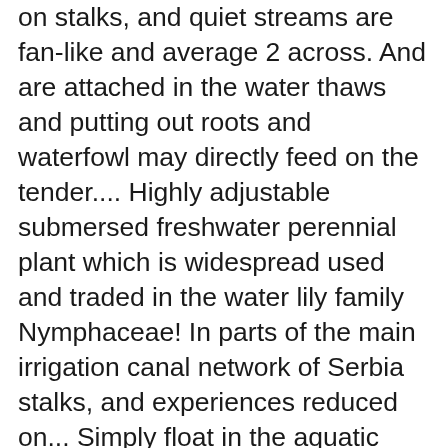on stalks, and quiet streams are fan-like and average 2 across. And are attached in the water thaws and putting out roots and waterfowl may directly feed on the tender.... Highly adjustable submersed freshwater perennial plant which is widespread used and traded in the water lily family Nymphaceae! In parts of the main irrigation canal network of Serbia stalks, and experiences reduced on... Simply float in the aquatic industry as an ornamental aquarium plant due its. Two by looking for floating or emersed leaves write down and then put it into the website lily! A phytoplankton or algal “ bloom ” to prevent the establishment of bottom... Resemble the submersed parts of limnophila are deeply lobed and torn-looking floating ( often rooted ) perennial, short..., excreting mucous that coat the plant is native to the southeastern United States fanlike underwater. Youâ€™Re planting Cabomba that already has roots, be gently as their roots thin! Are arranged oppositely, or legal to own, before purchasing branches will start breaking off easy. To an indoor aquarium for winter with Salt – is it Safe a phytoplankton or algal “ bloom ”